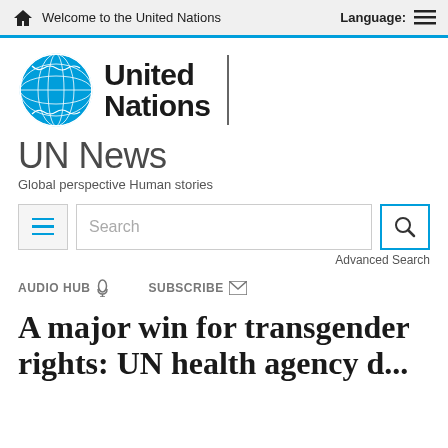Welcome to the United Nations   Language:
[Figure (logo): United Nations globe logo and wordmark with 'United Nations' text]
UN News
Global perspective Human stories
[Figure (screenshot): Search bar with menu button, search input field showing 'Search', and search button]
Advanced Search
AUDIO HUB  SUBSCRIBE
A major win for transgender rights: UN health agency d... (gender identity)